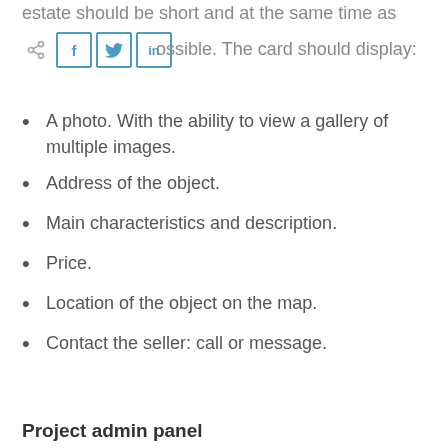estate should be short and at the same time as informative as possible. The card should display:
[Figure (infographic): Social share icons row: share icon, Facebook (f), Twitter (bird), LinkedIn (in) buttons in blue outlined squares]
A photo. With the ability to view a gallery of multiple images.
Address of the object.
Main characteristics and description.
Price.
Location of the object on the map.
Contact the seller: call or message.
Project admin panel